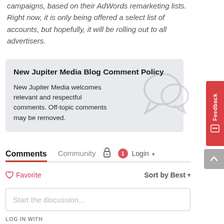campaigns, based on their AdWords remarketing lists. Right now, it is only being offered a select list of accounts, but hopefully, it will be rolling out to all advertisers.
New Jupiter Media Blog Comment Policy
New Jupiter Media welcomes relevant and respectful comments. Off-topic comments may be removed.
Comments  Community  🔒  1  Login ▾
♡ Favorite   Sort by Best ▾
Start the discussion...
LOG IN WITH